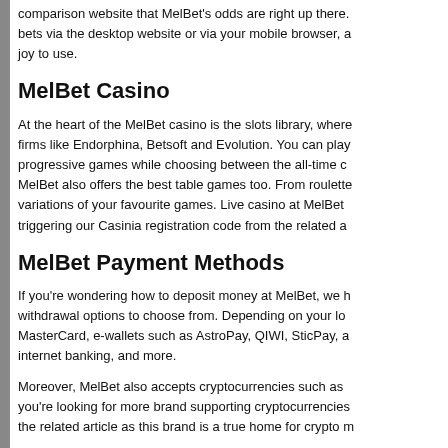comparison website that MelBet's odds are right up there. bets via the desktop website or via your mobile browser, a joy to use.
MelBet Casino
At the heart of the MelBet casino is the slots library, where firms like Endorphina, Betsoft and Evolution. You can play progressive games while choosing between the all-time c MelBet also offers the best table games too. From roulette variations of your favourite games. Live casino at MelBet triggering our Casinia registration code from the related a
MelBet Payment Methods
If you're wondering how to deposit money at MelBet, we h withdrawal options to choose from. Depending on your lo MasterCard, e-wallets such as AstroPay, QIWI, SticPay, a internet banking, and more.
Moreover, MelBet also accepts cryptocurrencies such as you're looking for more brand supporting cryptocurrencies the related article as this brand is a true home for crypto m
MelBet Mobile App